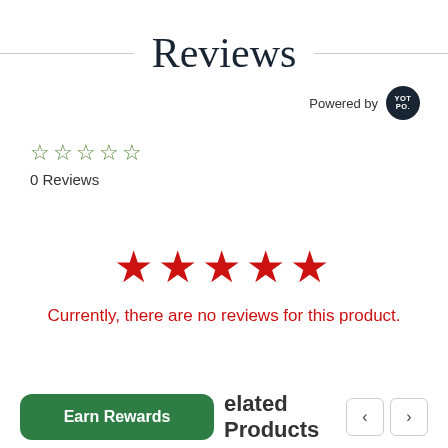Reviews
Powered by YOT PO.
☆☆☆☆☆
0 Reviews
[Figure (other): Five red filled stars displayed large]
Currently, there are no reviews for this product.
Earn Rewards   Related Products  < >